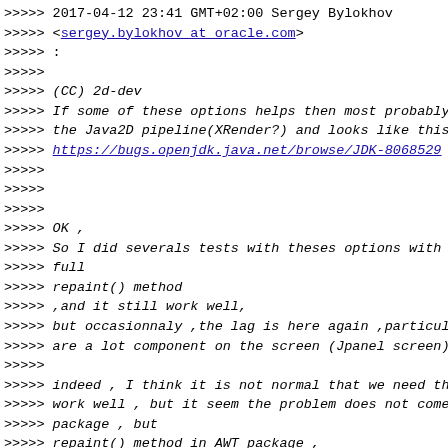>>>>> 2017-04-12 23:41 GMT+02:00 Sergey Bylokhov
>>>>> <sergey.bylokhov at oracle.com>
>>>>> :
>>>>>
>>>>> (CC) 2d-dev
>>>>> If some of these options helps then most probably t
>>>>> the Java2D pipeline(XRender?) and looks like this i
>>>>> https://bugs.openjdk.java.net/browse/JDK-8068529
>>>>>
>>>>>
>>>>>
>>>>> OK ,
>>>>> So I did severals tests with theses options with pr
>>>>> full
>>>>> repaint() method
>>>>> ,and it still work well,
>>>>> but occasionnaly ,the lag is here again ,particula
>>>>> are a lot component on the screen (Jpanel screen)
>>>>>
>>>>> indeed , I think it is not normal that we need thes
>>>>> work well , but it seem the problem does not come f
>>>>> package , but
>>>>> repaint() method in AWT package ,
>>>>>
>>>>> 2017-04-12 21:26 GMT+02:00 Patrick Chen <chen.j.pai
>>>>>
>>>>>> OK ,
>>>>>> So I did severals tests with theses options with p
>>>>>> full
>>>>> repaint() method